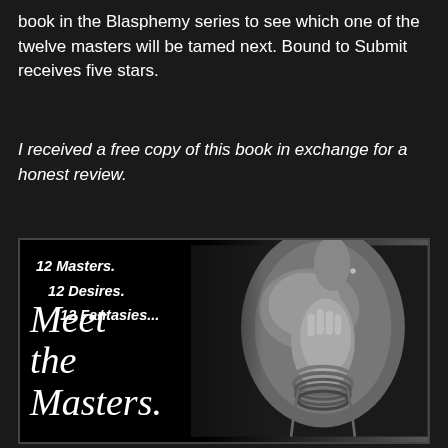book in the Blasphemy series to see which one of the twelve masters will be tamed next. Bound to Submit receives five stars.
I received a free copy of this book in exchange for a honest review.
[Figure (illustration): Book cover for a romance/erotica series showing a black and white photo of a person with bound hands/wrists with rope, with text overlay reading '12 Masters. 12 Desires. 12 Fantasies... Meet the Masters.' on a dark background.]